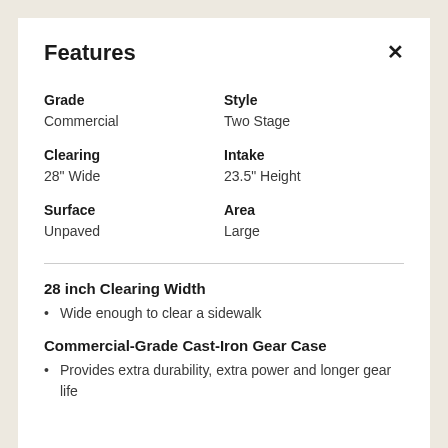Features
| Label | Value |
| --- | --- |
| Grade | Commercial |
| Style | Two Stage |
| Clearing | 28" Wide |
| Intake | 23.5" Height |
| Surface | Unpaved |
| Area | Large |
28 inch Clearing Width
Wide enough to clear a sidewalk
Commercial-Grade Cast-Iron Gear Case
Provides extra durability, extra power and longer gear life